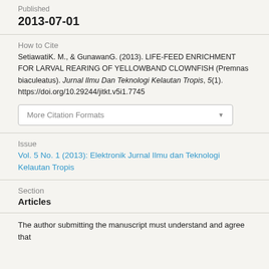Published
2013-07-01
How to Cite
SetiawatiK. M., & GunawanG. (2013). LIFE-FEED ENRICHMENT FOR LARVAL REARING OF YELLOWBAND CLOWNFISH (Premnas biaculeatus). Jurnal Ilmu Dan Teknologi Kelautan Tropis, 5(1). https://doi.org/10.29244/jitkt.v5i1.7745
More Citation Formats
Issue
Vol. 5 No. 1 (2013): Elektronik Jurnal Ilmu dan Teknologi Kelautan Tropis
Section
Articles
The author submitting the manuscript must understand and agree that